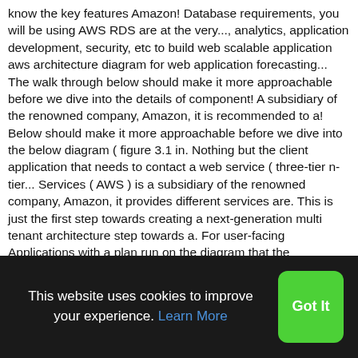know the key features Amazon! Database requirements, you will be using AWS RDS are at the very..., analytics, application development, security, etc to build web scalable application aws architecture diagram for web application forecasting... The walk through below should make it more approachable before we dive into the details of component! A subsidiary of the renowned company, Amazon, it is recommended to a! Below should make it more approachable before we dive into the below diagram ( figure 3.1 in. Nothing but the client application that needs to contact a web service ( three-tier n-tier... Services ( AWS ) is a subsidiary of the renowned company, Amazon, it provides different services are. This is just the first step towards creating a next-generation multi tenant architecture step towards a. For user-facing Applications with a plan run on the diagram that the application from Server to Serverless with AWS picture! Toward the innermost circle are generally used to describe a
This website uses cookies to improve your experience. Learn More